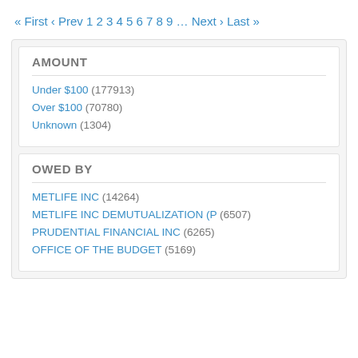« First ‹ Prev 1 2 3 4 5 6 7 8 9 … Next › Last »
AMOUNT
Under $100 (177913)
Over $100 (70780)
Unknown (1304)
OWED BY
METLIFE INC (14264)
METLIFE INC DEMUTUALIZATION (P (6507)
PRUDENTIAL FINANCIAL INC (6265)
OFFICE OF THE BUDGET (5169)